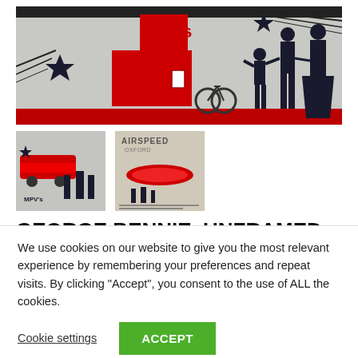[Figure (illustration): Colorful artwork/print showing a red building with 'McV's' sign, black silhouettes of people (man, woman, child), a bicycle, stars, and flowing lines on a mottled silver/white background.]
[Figure (illustration): Small thumbnail of the same McV's artwork print showing red train/vehicle and silhouetted figures.]
[Figure (illustration): Small thumbnail showing 'AIRSPEED' text with red elongated object and small figures, vintage poster style.]
GEORGE BENNIE. UNFRAMED PRINT BY
We use cookies on our website to give you the most relevant experience by remembering your preferences and repeat visits. By clicking "Accept", you consent to the use of ALL the cookies.
Cookie settings   ACCEPT